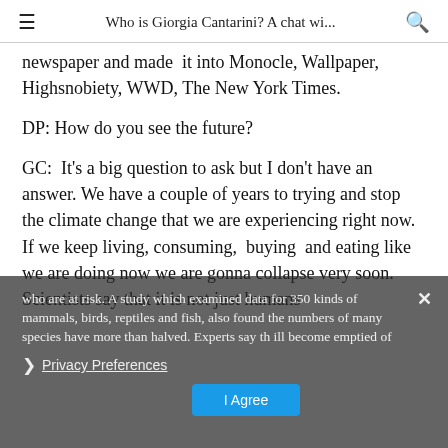Who is Giorgia Cantarini? A chat wi...
newspaper and made it into Monocle, Wallpaper, Highsnobiety, WWD, The New York Times.
DP: How do you see the future?
GC: It's a big question to ask but I don't have an answer. We have a couple of years to trying and stop the climate change that we are experiencing right now. If we keep living, consuming, buying and eating like we are doing now we are gonna collapse very soon. Scientists say that it is not just humans who are at risk. A study which examined data for 350 kinds of mammals, birds, reptiles and fish, also found the numbers of many species have more than halved. Experts say th...ill become emptied of ...
Privacy Preferences
I Agree